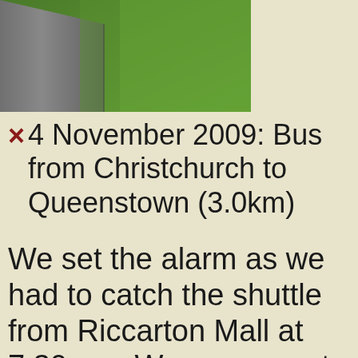[Figure (photo): Aerial or close-up photo of a road/path curving alongside a grassy embankment]
4 November 2009: Bus from Christchurch to Queenstown (3.0km)
We set the alarm as we had to catch the shuttle from Riccarton Mall at 7.30 am. We were up at 6 am and quickly